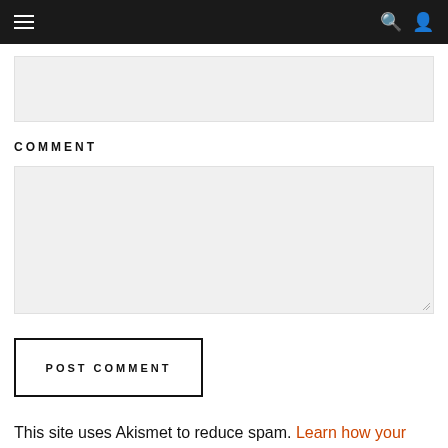Navigation bar with menu, search, and user icons
[Figure (other): Empty gray input text field at top]
COMMENT
[Figure (other): Empty gray textarea/comment input field with resize handle]
POST COMMENT
This site uses Akismet to reduce spam. Learn how your